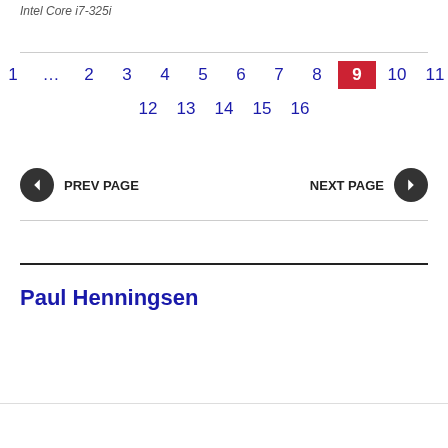Intel Core i7-3251
1 … 2 3 4 5 6 7 8 9 10 11 12 13 14 15 16
◀ PREV PAGE   NEXT PAGE ▶
Paul Henningsen